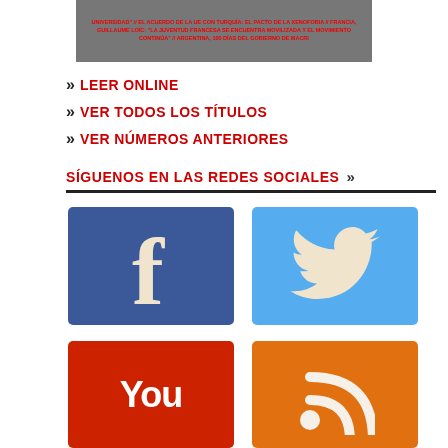[Figure (screenshot): Magazine cover thumbnail with red text headlines in Spanish about university, EU-Turkey accord, France youth, and Argentina Macri government]
» LEER ONLINE
» VER TODOS LOS TÍTULOS
» VER NÚMEROS ANTERIORES
SÍGUENOS EN LAS REDES SOCIALES »
[Figure (logo): Facebook logo — white F on blue background]
[Figure (logo): Twitter logo — white bird on light blue background]
[Figure (logo): YouTube logo — You text on red background]
[Figure (logo): RSS feed logo — white signal arcs on orange background]